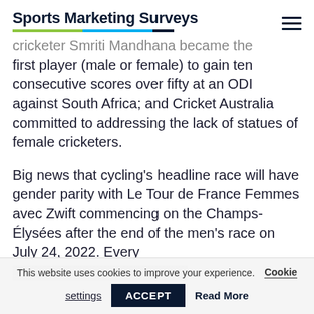Sports Marketing Surveys
cricketer Smriti Mandhana became the first player (male or female) to gain ten consecutive scores over fifty at an ODI against South Africa; and Cricket Australia committed to addressing the lack of statues of female cricketers.
Big news that cycling's headline race will have gender parity with Le Tour de France Femmes avec Zwift commencing on the Champs-Élysées after the end of the men's race on July 24, 2022. Every
This website uses cookies to improve your experience. Cookie settings ACCEPT Read More